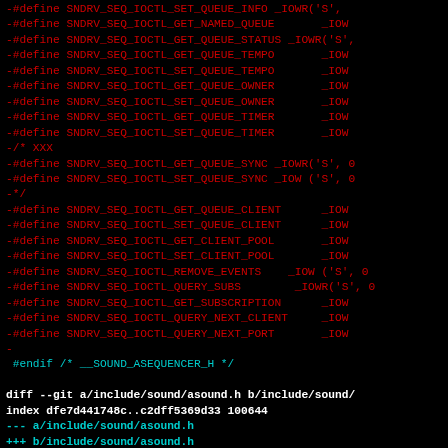Diff hunk showing removed lines with -#define macros for SNDRV_SEQ_IOCTL functions and new diff header block for asound.h